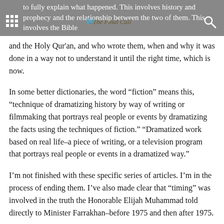to fully explain what happened. This involves history and prophecy and the relationship between the two of them. This involves the Bible and the Holy Qur'an, and who wrote them, when and why it was done in a way not to understand it until the right time, which is now.
In some better dictionaries, the word “fiction” means this, “technique of dramatizing history by way of writing or filmmaking that portrays real people or events by dramatizing the facts using the techniques of fiction.” “Dramatized work based on real life–a piece of writing, or a television program that portrays real people or events in a dramatized way.”
I’m not finished with these specific series of articles. I’m in the process of ending them. I’ve also made clear that “timing” was involved in the truth the Honorable Elijah Muhammad told directly to Minister Farrakhan–before 1975 and then after 1975.
Now, the word fiction means imaginative writing, something (as a story) invented by the imagination. There are many books that are